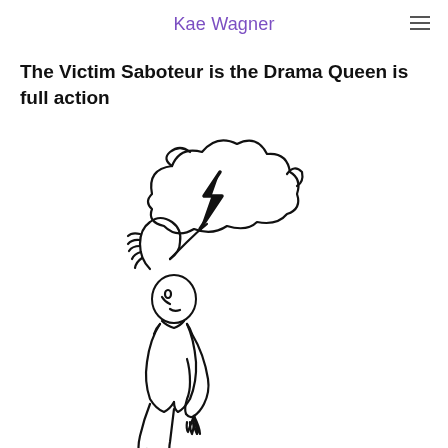Kae Wagner
The Victim Saboteur is the Drama Queen is full action
[Figure (illustration): Line drawing of a person leaning backward with one arm raised, being struck by a storm cloud with a lightning bolt — symbolizing the Victim Saboteur or Drama Queen archetype.]